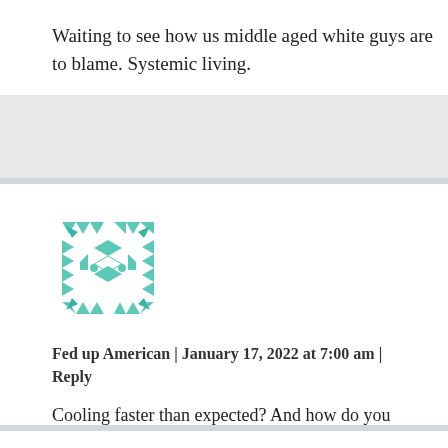Waiting to see how us middle aged white guys are to blame. Systemic living.
[Figure (illustration): Geometric teal/green avatar icon with triangular and diamond pattern on white square background]
Fed up American | January 17, 2022 at 7:00 am | Reply
Cooling faster than expected? And how do you know what to expect? How many earth cores life cycles have you dealt with? Please. Keep the drama to yourself.